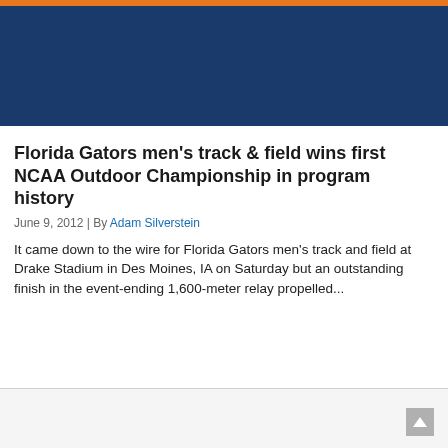[Figure (other): Dark blue header banner with orange top bar stripe — university website header area]
Florida Gators men's track & field wins first NCAA Outdoor Championship in program history
June 9, 2012 | By Adam Silverstein
It came down to the wire for Florida Gators men's track and field at Drake Stadium in Des Moines, IA on Saturday but an outstanding finish in the event-ending 1,600-meter relay propelled...